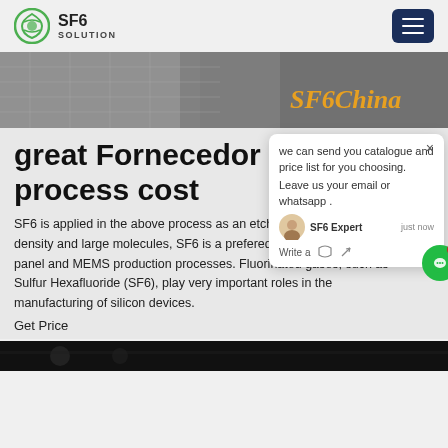SF6 SOLUTION
[Figure (photo): Industrial equipment photo banner with SF6China text overlay in orange]
great Fornecedor SF6 process cost
SF6 is applied in the above process as an etching gas. Due to the density and large molecules, SF6 is a prefered etching gas in flat panel and MEMS production processes. Fluorinated gases, such as Sulfur Hexafluoride (SF6), play very important roles in the manufacturing of silicon devices.
Get Price
[Figure (screenshot): Chat popup: we can send you catalogue and price list for you choosing. Leave us your email or whatsapp. SF6 Expert - just now - Write a message]
[Figure (photo): Bottom dark equipment/machinery image strip]